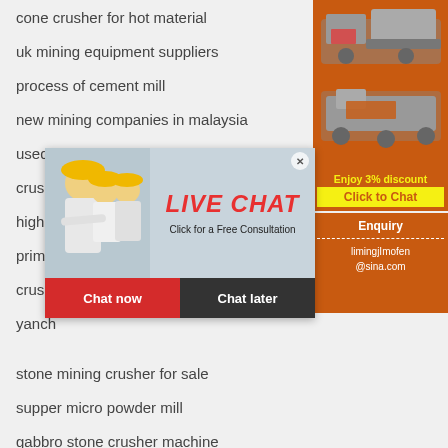cone crusher for hot material
uk mining equipment suppliers
process of cement mill
new mining companies in malaysia
used mobile crushers for sale in usa
crushed rock meaning
high c...
prima...
crush...
yanch...
stone mining crusher for sale
supper micro powder mill
gabbro stone crusher machine
sbm china crusher equipment
crawler mounted crusher suppliers
products of mined limestone
[Figure (infographic): Live Chat popup with photo of workers in hard hats, LIVE CHAT text in red italic, 'Click for a Free Consultation' text, Chat now (red) and Chat later (dark) buttons]
[Figure (infographic): Orange sidebar ad with mining machinery images, Enjoy 3% discount text in yellow, Click to Chat button, Enquiry section with limingjImofen@sina.com email]